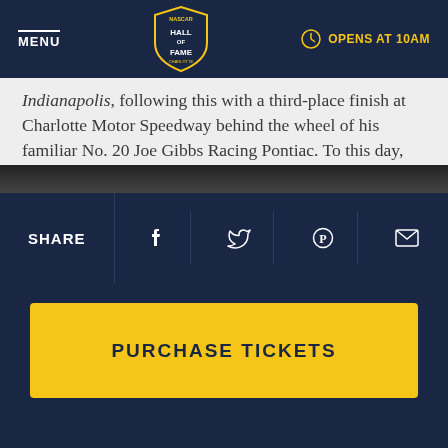MENU | NASCAR HALL OF FAME | OPENS AT 10AM
Indianapolis, following this with a third-place finish at Charlotte Motor Speedway behind the wheel of his familiar No. 20 Joe Gibbs Racing Pontiac. To this day, Stewart remains the only driver to finish on the lead lap of the Indy 500 and Coca-Cola 600 on the same day.
Stewart's two helmets from his 2001 double-duty effort at Indy and Charlotte are in his artifact case as part of his Hall of Honor display in the NASCAR Hall of Fame.
[Figure (photo): Dark image strip at bottom of content area]
SHARE
[Figure (infographic): Social share icons: Facebook, Twitter, Pinterest, Email]
PURCHASE TICKETS